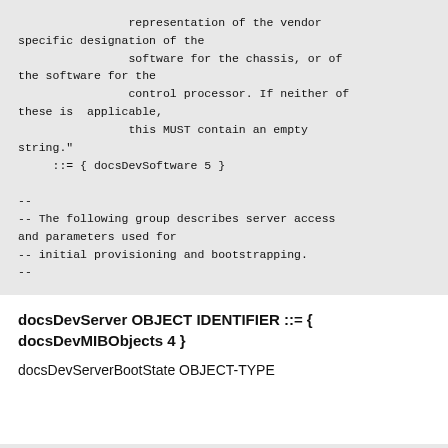representation of the vendor specific designation of the software for the chassis, or of the software for the control processor. If neither of these is  applicable, this MUST contain an empty string."
    ::= { docsDevSoftware 5 }

--
-- The following group describes server access and parameters used for
-- initial provisioning and bootstrapping.
--
docsDevServer OBJECT IDENTIFIER ::= { docsDevMIBObjects 4 }
docsDevServerBootState OBJECT-TYPE